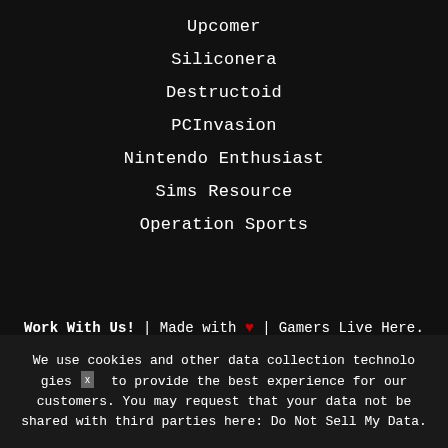Upcomer
Siliconera
Destructoid
PCInvasion
Nintendo Enthusiast
Sims Resource
Operation Sports
Work With Us!  |  Made with ♥  |  Gamers Live Here.
We use cookies and other data collection technologies to provide the best experience for our customers. You may request that your data not be shared with third parties here: Do Not Sell My Data.